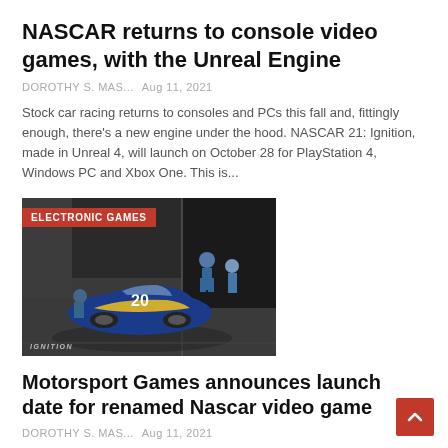NASCAR returns to console video games, with the Unreal Engine
DOROTHY S. MAS...  Aug 11, 2021
Stock car racing returns to consoles and PCs this fall and, fittingly enough, there's a new engine under the hood. NASCAR 21: Ignition, made in Unreal 4, will launch on October 28 for PlayStation 4, Windows PC and Xbox One. This is...
[Figure (photo): Overhead view of a NASCAR stock car in a garage pit area, with crew members around it. 'ELECTRONIC GAMES' label in red overlay top-left. 'IGNITION' watermark bottom-left.]
Motorsport Games announces launch date for renamed Nascar video game
DOROTHY S. MAS...  Aug 11, 2021
Motorsport Games will launch the all-new Nascar 21: Ignition at the end